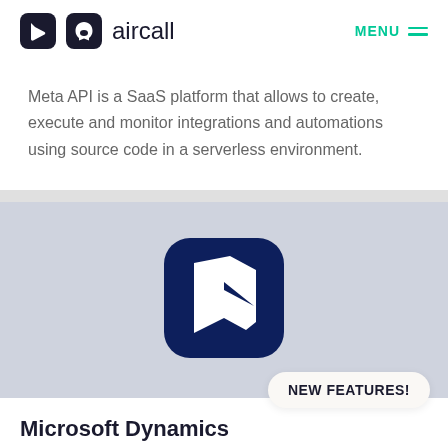aircall  MENU
Meta API is a SaaS platform that allows to create, execute and monitor integrations and automations using source code in a serverless environment.
[Figure (logo): Microsoft Dynamics 365 logo — dark navy rounded-square icon with a white angular arrow/chevron mark]
Microsoft Dynamics
CRM